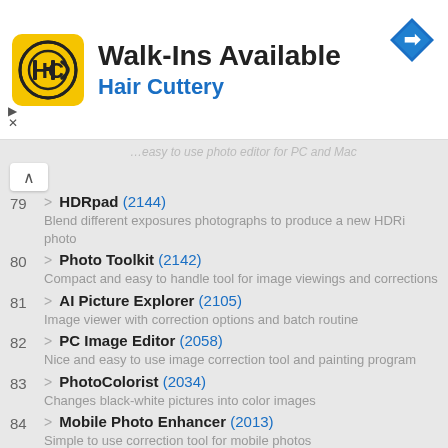[Figure (screenshot): Hair Cuttery advertisement banner with yellow logo showing HC initials, title 'Walk-Ins Available', subtitle 'Hair Cuttery', a blue diamond-shaped arrow icon, and ad controls.]
79 > HDRpad (2144) — Blend different exposures photographs to produce a new HDRi photo
80 > Photo Toolkit (2142) — Compact and easy to handle tool for image viewings and corrections
81 > AI Picture Explorer (2105) — Image viewer with correction options and batch routine
82 > PC Image Editor (2058) — Nice and easy to use image correction tool and painting program
83 > PhotoColorist (2034) — Changes black-white pictures into color images
84 > Mobile Photo Enhancer (2013) — Simple to use correction tool for mobile photos